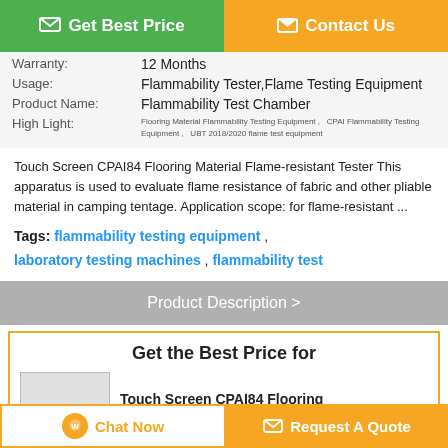[Figure (infographic): Two top navigation buttons: green 'Get Best Price' button and orange 'Contact Us' button]
| Warranty: | 12 Months |
| Usage: | Flammability Tester,Flame Testing Equipment |
| Product Name: | Flammability Test Chamber |
| High Light: | Flooring Material Flammability Testing Equipment , CPAI Flammability Testing Equipment , UBT 2018/2020 flame test equipment |
Touch Screen CPAI84 Flooring Material Flame-resistant Tester This apparatus is used to evaluate flame resistance of fabric and other pliable material in camping tentage. Application scope: for flame-resistant ...
Tags: flammability testing equipment , laboratory testing machines , flammability test
Product Description >
Get the Best Price for
Touch Screen CPAI84 Flooring
[Figure (infographic): Bottom action buttons: 'Chat Now' in white/orange and 'Request A Quote' in orange]